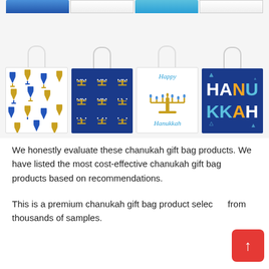[Figure (photo): Four Hanukkah gift bags with twisted rope handles. Bag 1: white with blue and gold dreidel pattern. Bag 2: dark navy blue with gold menorah pattern. Bag 3: white with 'Happy Hanukkah' text and a gold menorah illustration with blue candles. Bag 4: dark navy blue with 'HANUKKAH' text in white, light blue, and orange letters with Star of David accents. Partial tops of additional bags visible at the very top of the image.]
We honestly evaluate these chanukah gift bag products. We have listed the most cost-effective chanukah gift bag products based on recommendations.
This is a premium chanukah gift bag product selected from thousands of samples.